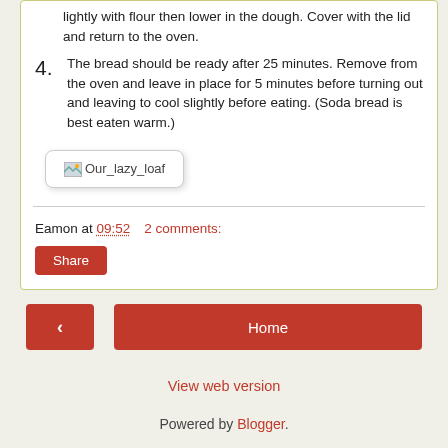lightly with flour then lower in the dough. Cover with the lid and return to the oven.
4. The bread should be ready after 25 minutes. Remove from the oven and leave in place for 5 minutes before turning out and leaving to cool slightly before eating. (Soda bread is best eaten warm.)
[Figure (photo): Broken image placeholder labeled 'Our_lazy_loaf']
Eamon at 09:52    2 comments:
Share
< (previous navigation button)
Home
View web version
Powered by Blogger.